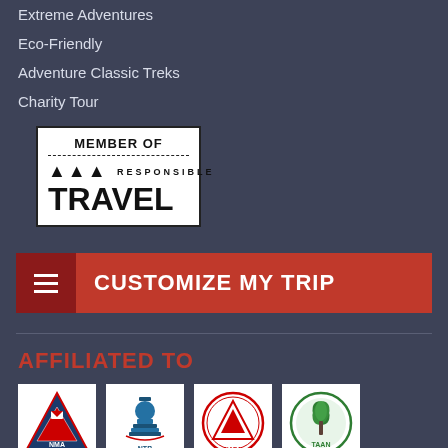Extreme Adventures
Eco-Friendly
Adventure Classic Treks
Charity Tour
[Figure (logo): Member of Responsible Travel badge - white box with 'MEMBER OF' text, dashed line, mountain icons, and 'RESPONSIBLE TRAVEL' text in bold]
CUSTOMIZE MY TRIP
AFFILIATED TO
[Figure (logo): NMA logo - Nepal Mountaineering Association, triangle with mountain and flag]
[Figure (logo): NTB logo - Nepal Tourism Board, stylized stupa]
[Figure (logo): NARA logo - Nepal Adventure Racing Association, circular badge]
[Figure (logo): TAAN logo - Trekking Agencies Association of Nepal, circular green emblem]